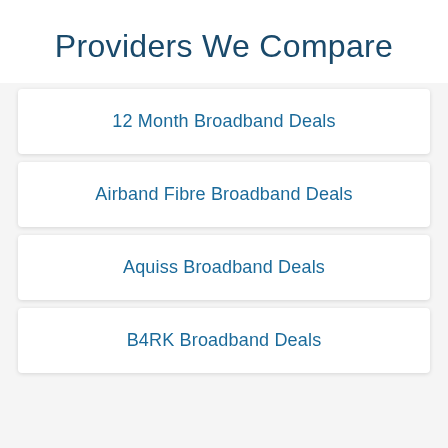Providers We Compare
12 Month Broadband Deals
Airband Fibre Broadband Deals
Aquiss Broadband Deals
B4RK Broadband Deals